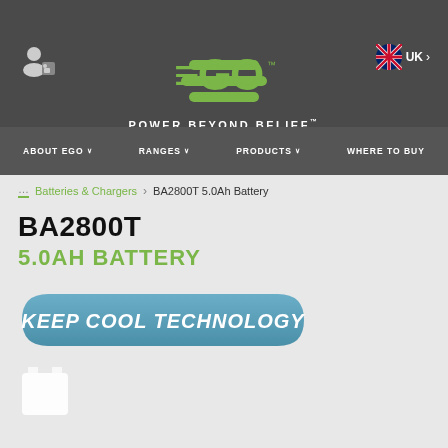[Figure (logo): EGO Power Beyond Belief logo with green EGO text and tagline in white]
UK
ABOUT EGO | RANGES | PRODUCTS | WHERE TO BUY
... Batteries & Chargers > BA2800T 5.0Ah Battery
BA2800T
5.0AH BATTERY
[Figure (infographic): KEEP COOL TECHNOLOGY blue rounded banner badge]
[Figure (illustration): Small white battery product thumbnail icon]